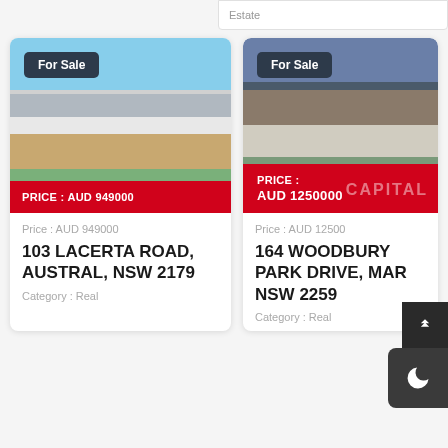Estate
[Figure (photo): Front exterior of a modern single-story house with brick and white cladding, garage, green lawn, blue sky. Badge: For Sale. Price overlay: PRICE : AUD 949000]
Price : AUD 949000
103 LACERTA ROAD, AUSTRAL, NSW 2179
Category : Real
[Figure (photo): Front exterior of a two-story white house with dark timber roof, evening sky, garage. Badge: For Sale. Price overlay: PRICE : AUD 1250000. Watermark: CAPITAL]
Price : AUD 1250000
164 WOODBURY PARK DRIVE, MAR NSW 2259
Category : Real